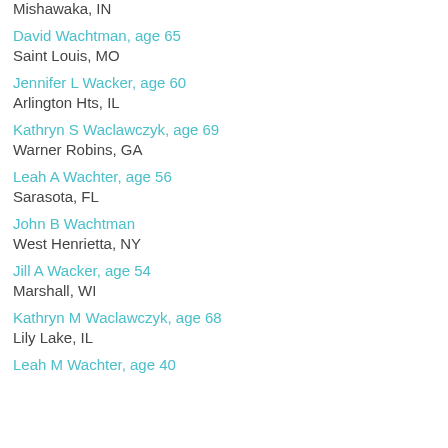Mishawaka, IN
David Wachtman, age 65
Saint Louis, MO
Jennifer L Wacker, age 60
Arlington Hts, IL
Kathryn S Waclawczyk, age 69
Warner Robins, GA
Leah A Wachter, age 56
Sarasota, FL
John B Wachtman
West Henrietta, NY
Jill A Wacker, age 54
Marshall, WI
Kathryn M Waclawczyk, age 68
Lily Lake, IL
Leah M Wachter, age 40